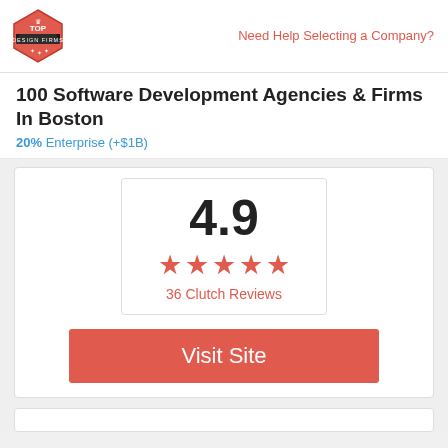[Figure (logo): Top Design Firms badge logo - red hexagon with crown icon and text]
Need Help Selecting a Company?
100 Software Development Agencies & Firms In Boston
20% Enterprise (+$1B)
[Figure (infographic): Rating box showing 4.9 with 5 red stars and '36 Clutch Reviews']
Visit Site